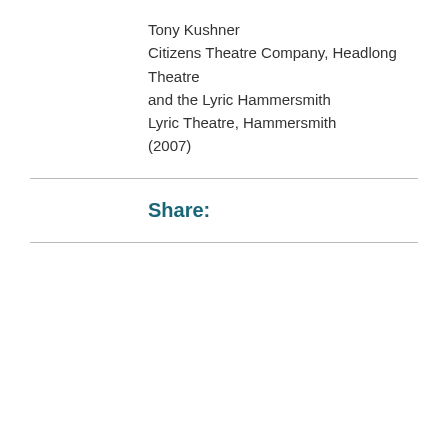Tony Kushner
Citizens Theatre Company, Headlong Theatre and the Lyric Hammersmith
Lyric Theatre, Hammersmith
(2007)
Share:
[Figure (screenshot): Cookie consent overlay on a webpage showing a dark photo (figure with angel wings) and a gray popup with text: 'This website uses cookies to ensure you get the best experience on our website. Learn more' and a 'Got it!' button.]